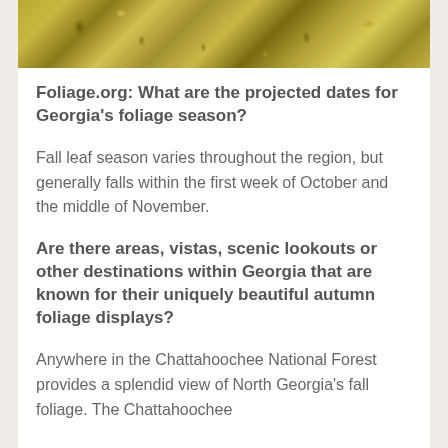[Figure (photo): Close-up photograph of autumn foliage — golden-yellow and brown dried leaves and plant matter]
Foliage.org: What are the projected dates for Georgia's foliage season?
Fall leaf season varies throughout the region, but generally falls within the first week of October and the middle of November.
Are there areas, vistas, scenic lookouts or other destinations within Georgia that are known for their uniquely beautiful autumn foliage displays?
Anywhere in the Chattahoochee National Forest provides a splendid view of North Georgia's fall foliage. The Chattahoochee